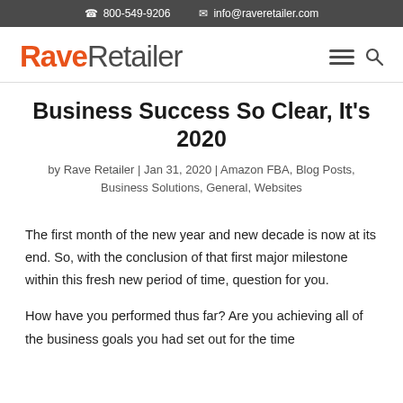800-549-9206   info@raveretailer.com
[Figure (logo): RaveRetailer logo — 'Rave' in bold orange, 'Retailer' in gray, with orange dots below text]
Business Success So Clear, It's 2020
by Rave Retailer | Jan 31, 2020 | Amazon FBA, Blog Posts, Business Solutions, General, Websites
The first month of the new year and new decade is now at its end. So, with the conclusion of that first major milestone within this fresh new period of time, question for you.
How have you performed thus far? Are you achieving all of the business goals you had set out for the time